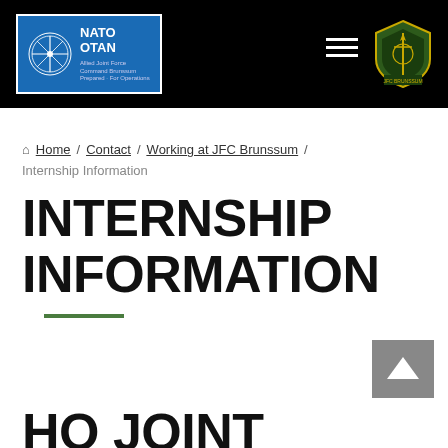NATO OTAN / JFC Brunssum — Navigation header
Home / Contact / Working at JFC Brunssum / Internship Information
INTERNSHIP INFORMATION
HQ JOINT FORCE